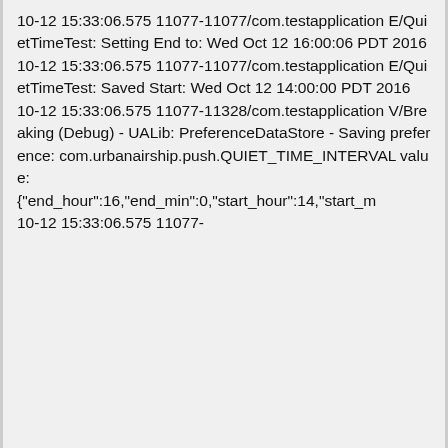10-12 15:33:06.575 11077-11077/com.testapplication E/QuietTimeTest: Setting End to: Wed Oct 12 16:00:06 PDT 2016
10-12 15:33:06.575 11077-11077/com.testapplication E/QuietTimeTest: Saved Start: Wed Oct 12 14:00:00 PDT 2016
10-12 15:33:06.575 11077-11328/com.testapplication V/Breaking (Debug) - UALib: PreferenceDataStore - Saving preference: com.urbanairship.push.QUIET_TIME_INTERVAL value: {"end_hour":16,"end_min":0,"start_hour":14,"start_m
10-12 15:33:06.575 11077-